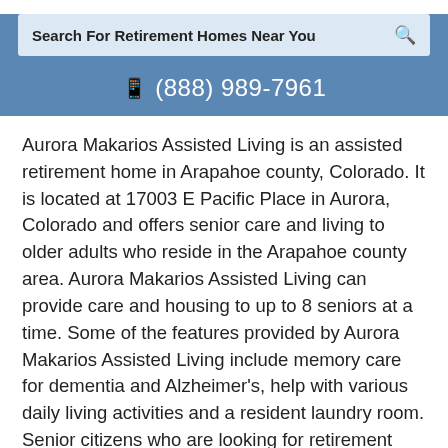[Figure (screenshot): Search bar with text 'Search For Retirement Homes Near You' and a search icon on the right, on a light blue background]
☎ (888) 989-7961
Aurora Makarios Assisted Living is an assisted retirement home in Arapahoe county, Colorado. It is located at 17003 E Pacific Place in Aurora, Colorado and offers senior care and living to older adults who reside in the Arapahoe county area. Aurora Makarios Assisted Living can provide care and housing to up to 8 seniors at a time. Some of the features provided by Aurora Makarios Assisted Living include memory care for dementia and Alzheimer's, help with various daily living activities and a resident laundry room. Senior citizens who are looking for retirement facilities